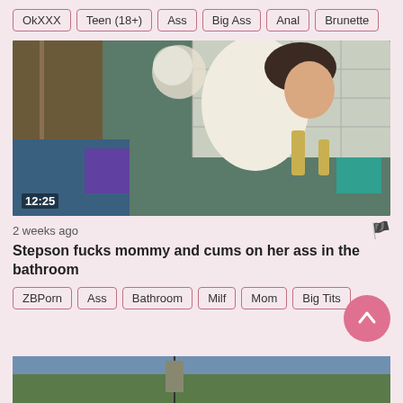OkXXX
Teen (18+)
Ass
Big Ass
Anal
Brunette
[Figure (photo): Video thumbnail showing a woman in a white outfit in a bathroom setting, timestamp 12:25]
2 weeks ago
Stepson fucks mommy and cums on her ass in the bathroom
ZBPorn
Ass
Bathroom
Milf
Mom
Big Tits
[Figure (photo): Partial video thumbnail at bottom of page]